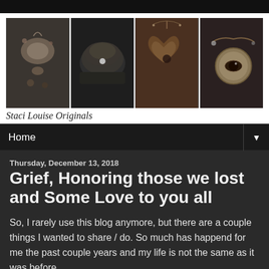[Figure (photo): Banner photo strip showing four jewelry images: necklace with charms, dark mushroom/bowl ceramic piece, wooden heart pendant on chain, and eye medallion bracelet]
Staci Louise Originals
Home
Thursday, December 13, 2018
Grief, Honoring those we lost and Some Love to you all
So, I rarely use this blog anymore, but there are a couple things I wanted to share / do.  So much has happend for me the past couple years and my life is not the same as it was before.
I am still creating, and passionate about it.  It is still my full time job.  My kids have grown huge and my heart as a result